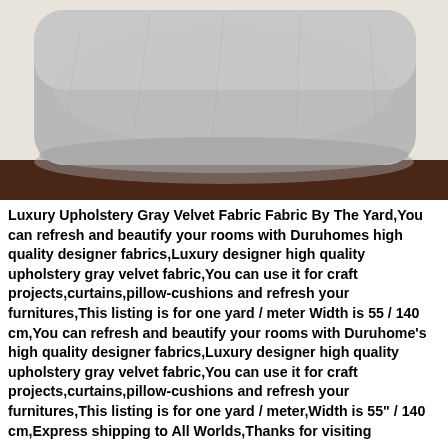[Figure (photo): A gray velvet pillow/cushion resting on a dark brown leather surface, photographed from the front. The pillow is light heather gray and takes up most of the upper portion of the image. Background is cream/off-white.]
Luxury Upholstery Gray Velvet Fabric Fabric By The Yard,You can refresh and beautify your rooms with Duruhomes high quality designer fabrics,Luxury designer high quality upholstery gray velvet fabric,You can use it for craft projects,curtains,pillow-cushions and refresh your furnitures,This listing is for one yard / meter Width is 55 / 140 cm,You can refresh and beautify your rooms with Duruhome's high quality designer fabrics,Luxury designer high quality upholstery gray velvet fabric,You can use it for craft projects,curtains,pillow-cushions and refresh your furnitures,This listing is for one yard / meter,Width is 55" / 140 cm,Express shipping to All Worlds,Thanks for visiting